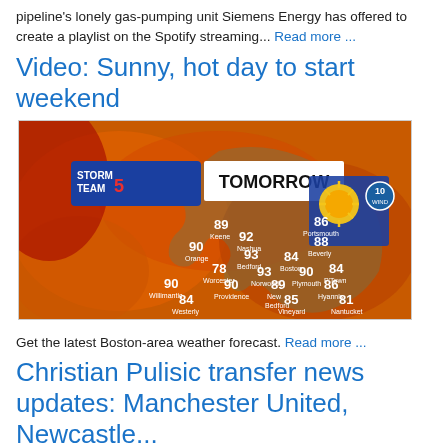pipeline's lonely gas-pumping unit Siemens Energy has offered to create a playlist on the Spotify streaming... Read more ...
Video: Sunny, hot day to start weekend
[Figure (screenshot): Weather forecast screenshot showing Storm Team 5 TOMORROW map with temperatures for New England area. Temperatures shown: Portsmouth 86, Keene 89, Nashua 92, Beverly 88, Orange 90, Bedford 93, Boston 84, Worcester 78, Norwood 93, Plymouth 90, P'Town 84, Willimantic 90, Providence 90, New Bedford 89, Hyannis 86, Westerly 84, Vineyard 85, Nantucket 81. A sun icon with wind speed 10 is shown.]
Get the latest Boston-area weather forecast. Read more ...
Christian Pulisic transfer news updates: Manchester United, Newcastle...
USAM Boston Christian Pulisic is the target of great potential...